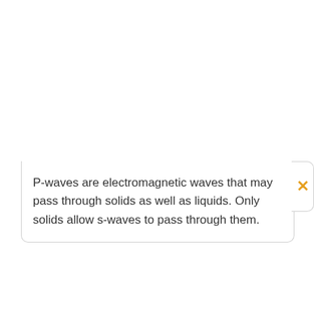P-waves are electromagnetic waves that may pass through solids as well as liquids. Only solids allow s-waves to pass through them.